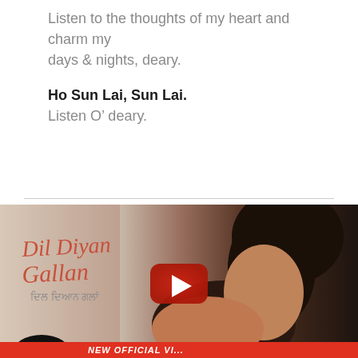Listen to the thoughts of my heart and charm my days & nights, deary.
Ho Sun Lai, Sun Lai.
Listen O’ deary.
[Figure (screenshot): YouTube video thumbnail for 'Dil Diyan Gallan' music video showing a couple in close romantic pose, with the YouTube play button overlay, HD logo badge, and 'NEW OFFICIAL VI...' banner at the bottom]